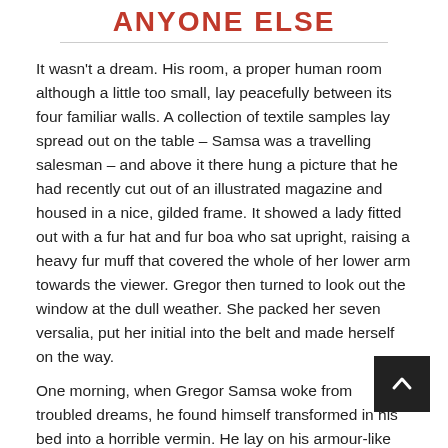ANYONE ELSE
It wasn't a dream. His room, a proper human room although a little too small, lay peacefully between its four familiar walls. A collection of textile samples lay spread out on the table – Samsa was a travelling salesman – and above it there hung a picture that he had recently cut out of an illustrated magazine and housed in a nice, gilded frame. It showed a lady fitted out with a fur hat and fur boa who sat upright, raising a heavy fur muff that covered the whole of her lower arm towards the viewer. Gregor then turned to look out the window at the dull weather. She packed her seven versalia, put her initial into the belt and made herself on the way.
One morning, when Gregor Samsa woke from troubled dreams, he found himself transformed in his bed into a horrible vermin. He lay on his armour-like back, and if he